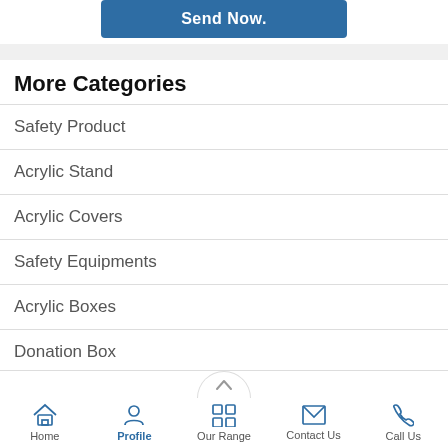[Figure (other): Blue 'Send Now.' button]
More Categories
Safety Product
Acrylic Stand
Acrylic Covers
Safety Equipments
Acrylic Boxes
Donation Box
View All Categories »
Home | Profile | Our Range | Contact Us | Call Us